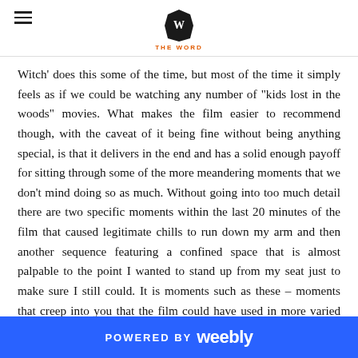THE WORD
Witch' does this some of the time, but most of the time it simply feels as if we could be watching any number of "kids lost in the woods" movies. What makes the film easier to recommend though, with the caveat of it being fine without being anything special, is that it delivers in the end and has a solid enough payoff for sitting through some of the more meandering moments that we don't mind doing so as much. Without going into too much detail there are two specific moments within the last 20 minutes of the film that caused legitimate chills to run down my arm and then another sequence featuring a confined space that is almost palpable to the point I wanted to stand up from my seat just to make sure I still could. It is moments such as these – moments that creep into you that the film could have used in more varied points rather than throwing them all at the audience in the final act. 'Blair Witch' is a movie that conveys the thought of what's happening being creepier that what is actually being shown on screen. The idea that when night falls that space and time somewhat
POWERED BY weebly